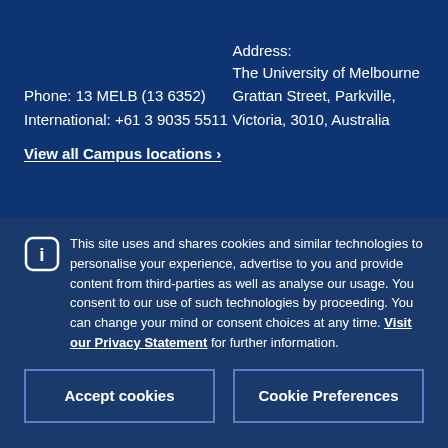Phone: 13 MELB (13 6352)
International: +61 3 9035 5511
Address:
The University of Melbourne
Grattan Street, Parkville,
Victoria, 3010, Australia
View all Campus locations ›
This site uses and shares cookies and similar technologies to personalise your experience, advertise to you and provide content from third-parties as well as analyse our usage. You consent to our use of such technologies by proceeding. You can change your mind or consent choices at any time. Visit our Privacy Statement for further information.
Accept cookies
Cookie Preferences